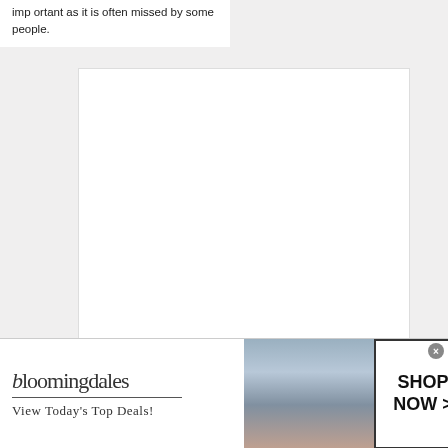important as it is often missed by some people.
[Figure (other): White blank rectangular image placeholder on light gray background]
HOW TO
Prep and paint kitchen cabinets with
[Figure (photo): Thumbnail image of kitchen/interior scene]
[Figure (other): Bloomingdale's advertisement banner: 'View Today's Top Deals!' with model in hat and 'SHOP NOW >' button]